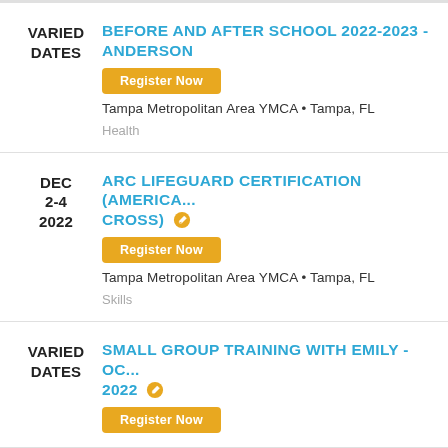VARIED DATES — BEFORE AND AFTER SCHOOL 2022-2023 - ANDERSON
Register Now
Tampa Metropolitan Area YMCA • Tampa, FL
Health
DEC 2-4 2022 — ARC LIFEGUARD CERTIFICATION (AMERICAN RED CROSS)
Register Now
Tampa Metropolitan Area YMCA • Tampa, FL
Skills
VARIED DATES — SMALL GROUP TRAINING WITH EMILY - OC... 2022
Register Now